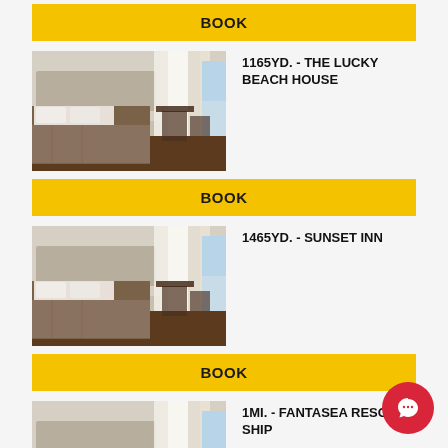BOOK
[Figure (photo): Hotel room with bed and balcony door with curtains]
1165YD. - THE LUCKY BEACH HOUSE
BOOK
[Figure (photo): Hotel room with bed and balcony door with curtains]
1465YD. - SUNSET INN
BOOK
[Figure (photo): Hotel room with bed and balcony door with curtains]
1MI. - FANTASEA RESORTS SHIP